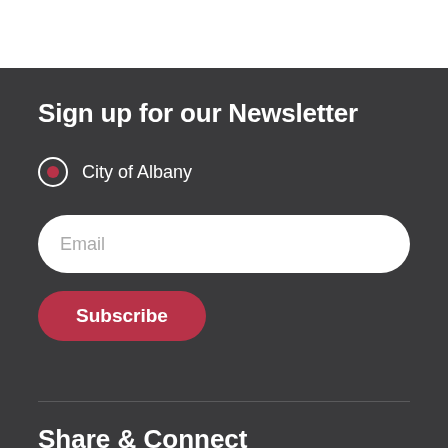Sign up for our Newsletter
City of Albany
Email
Subscribe
Share & Connect
TheCityofAlbanyWA